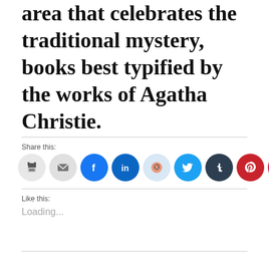area that celebrates the traditional mystery, books best typified by the works of Agatha Christie.
Share this:
[Figure (other): Row of social share buttons: print, email, Facebook, LinkedIn, Reddit, Twitter, Tumblr, Pinterest, Pocket]
Like this:
Loading...